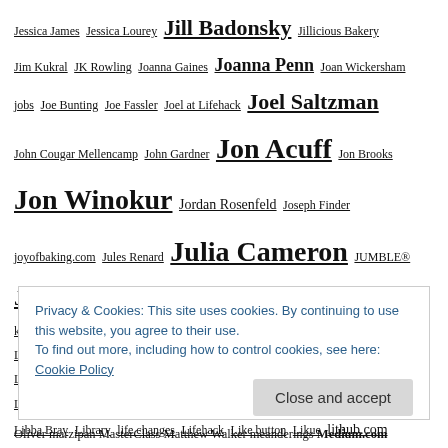Jessica James Jessica Lourey Jill Badonsky Jillicious Bakery Jim Kukral JK Rowling Joanna Gaines Joanna Penn Joan Wickersham jobs Joe Bunting Joe Fassler Joel at Lifehack Joel Saltzman John Cougar Mellencamp John Gardner Jon Acuff Jon Brooks Jon Winokur Jordan Rosenfeld Joseph Finder joyofbaking.com Jules Renard Julia Cameron JUMBLE® Just say no K.M. Weiland Kay Bolden keep going kettle corn Kleon laptop as doorstop Larry L. King Larry Page late for your date Lauren Ebsary laurenslatest.com laziness leaf blowers learn your 'why' Leave It to Beaver left brain legacy.com Leo Babauta Leonardo da Vinci Leon Legothetis lessons for writers lessons from writing Lewis Grizzard Libba Bray Library life changes Lifehack Like button Likue lithub.com Little League live creatively live
Privacy & Cookies: This site uses cookies. By continuing to use this website, you agree to their use. To find out more, including how to control cookies, see here: Cookie Policy
Oliver marzipan MasterClass Matthew Walker meanderings Medium.com